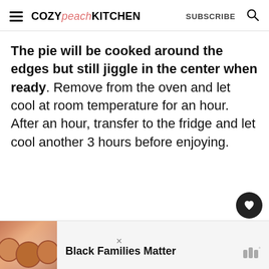COZY peach KITCHEN  SUBSCRIBE
The pie will be cooked around the edges but still jiggle in the center when ready. Remove from the oven and let cool at room temperature for an hour. After an hour, transfer to the fridge and let cool another 3 hours before enjoying.
[Figure (other): Social engagement sidebar with heart button showing 2.4K likes and a share button]
[Figure (other): Advertisement banner showing three smiling faces image on left and text 'Black Families Matter' with a sound/media logo on right]